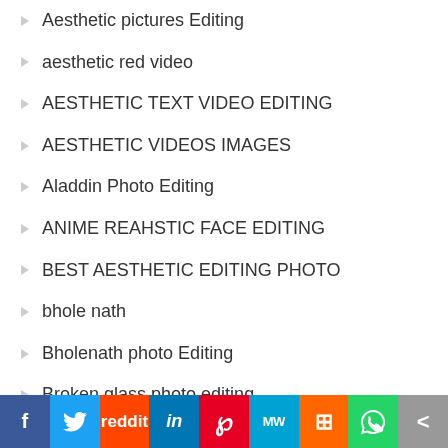Aesthetic pictures Editing
aesthetic red video
AESTHETIC TEXT VIDEO EDITING
AESTHETIC VIDEOS IMAGES
Aladdin Photo Editing
ANIME REAHSTIC FACE EDITING
BEST AESTHETIC EDITING PHOTO
bhole nath
Bholenath photo Editing
Broken glass photo editing
BUTTERFLY PHOTO EDITING